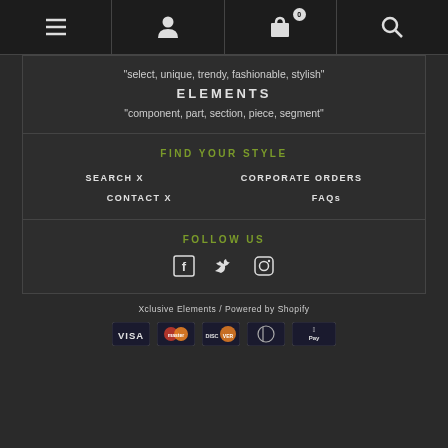Navigation bar with menu, user, cart (0), and search icons
"select, unique, trendy, fashionable, stylish"
ELEMENTS
"component, part, section, piece, segment"
FIND YOUR STYLE
SEARCH X
CORPORATE ORDERS
CONTACT X
FAQs
FOLLOW US
[Figure (other): Social media icons: Facebook, Twitter, Instagram]
Xclusive Elements / Powered by Shopify
[Figure (other): Payment icons: VISA, Mastercard, Discover, Diners Club, Apple Pay]